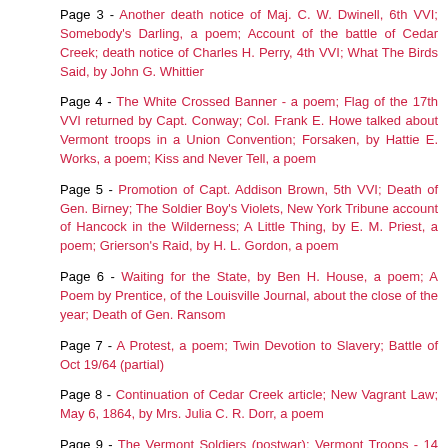Page 3 - Another death notice of Maj. C. W. Dwinell, 6th VVI; Somebody's Darling, a poem; Account of the battle of Cedar Creek; death notice of Charles H. Perry, 4th VVI; What The Birds Said, by John G. Whittier
Page 4 - The White Crossed Banner - a poem; Flag of the 17th VVI returned by Capt. Conway; Col. Frank E. Howe talked about Vermont troops in a Union Convention; Forsaken, by Hattie E. Works, a poem; Kiss and Never Tell, a poem
Page 5 - Promotion of Capt. Addison Brown, 5th VVI; Death of Gen. Birney; The Soldier Boy's Violets, New York Tribune account of Hancock in the Wilderness; A Little Thing, by E. M. Priest, a poem; Grierson's Raid, by H. L. Gordon, a poem
Page 6 - Waiting for the State, by Ben H. House, a poem; A Poem by Prentice, of the Louisville Journal, about the close of the year; Death of Gen. Ransom
Page 7 - A Protest, a poem; Twin Devotion to Slavery; Battle of Oct 19/64 (partial)
Page 8 - Continuation of Cedar Creek article; New Vagrant Law; May 6, 1864, by Mrs. Julia C. R. Dorr, a poem
Page 9 - The Vermont Soldiers (postwar); Vermont Troops - 14 officers and 98 men of the 6th VVI mustered out; Casualties - Col. Tracy, 2nd VVI, wounded; Served Him Right - about a rebel doctor; The 42nd Mass. mustered out
Page 10 - A Few Plain Facts; The Battle of Gaines' Hill; The World is Cold; "Copperheads Defined"